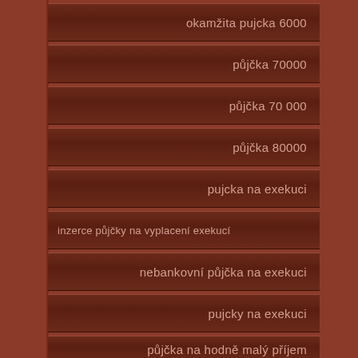okamžita pujcka 6000
půjčka 70000
půjčka 70 000
půjčka 80000
pujcka na exekuci
inzerce půjčky na vyplacení exekucí
nebankovní půjčka na exekuci
pujcky na exekuci
půjčka na hodně malý příjem